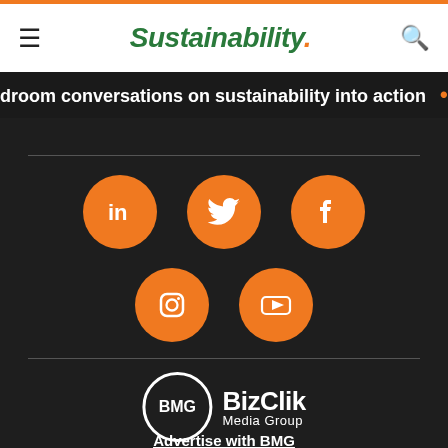Sustainability.
droom conversations on sustainability into action • Llo
[Figure (infographic): Five orange circular social media icons: LinkedIn, Twitter, Facebook (top row), Instagram, YouTube (bottom row)]
[Figure (logo): BizClik Media Group logo: BMG in white circle outline next to BizClik Media Group text in white]
Advertise with BMG